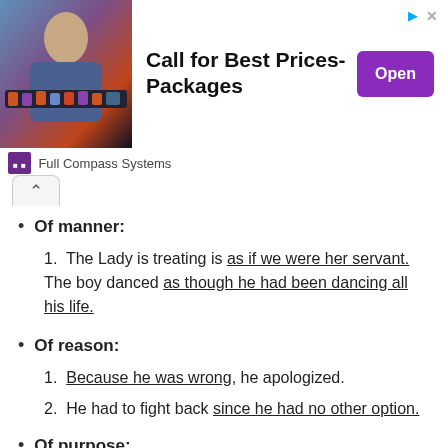[Figure (other): Advertisement banner for Full Compass Systems with a man at a mixing desk, text 'Call for Best Prices-Packages', and a purple Open button]
Of manner:
1. The Lady is treating is as if we were her servant. The boy danced as though he had been dancing all his life.
Of reason:
1. Because he was wrong, he apologized.
2. He had to fight back since he had no other option.
Of purpose:
The athlete trained very hard so that he might win the race. So that he might secure a seat, he arrived early at the